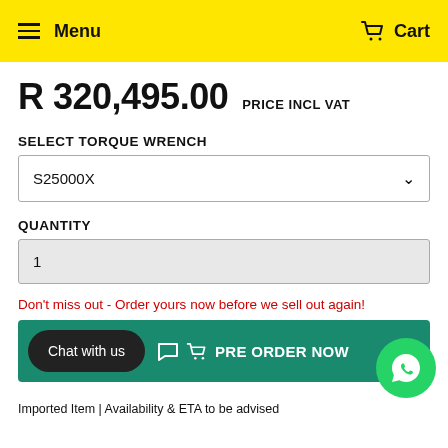Menu   Cart
R 320,495.00 PRICE INCL VAT
SELECT TORQUE WRENCH
S25000X
QUANTITY
1
Don't miss out - Order yours now before we sell out again!
Chat with us   PRE ORDER NOW
Imported Item | Availability & ETA to be advised